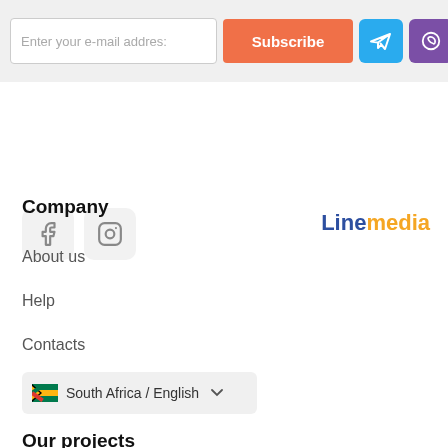[Figure (screenshot): Top banner with email input, Subscribe button, Telegram icon button, and Viber icon button on a light grey background]
[Figure (infographic): Facebook and Instagram social icon boxes on the left; Linemedia logo on the right]
Company
About us
Help
Contacts
South Africa / English
Our projects